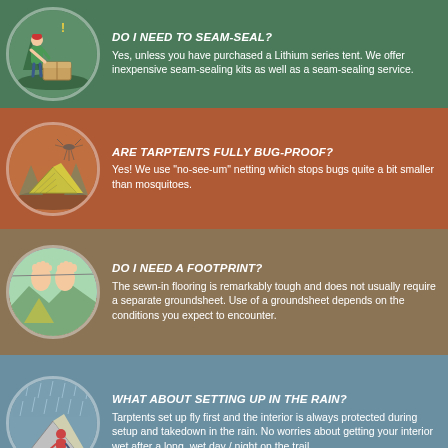[Figure (infographic): FAQ block 1: Do I need to seam-seal? Green background with illustration of person unpacking tent box. Question and answer text.]
[Figure (infographic): FAQ block 2: Are Tarptents fully bug-proof? Orange/rust background with illustration of tent and mosquito netting. Question and answer text.]
[Figure (infographic): FAQ block 3: Do I need a footprint? Brown background with illustration of bare feet sticking out of tent. Question and answer text.]
[Figure (infographic): FAQ block 4: What about setting up in the rain? Blue-grey background with illustration of person setting up tent in rain. Question and answer text.]
Message ACCESSORIES YOU MAY WANT